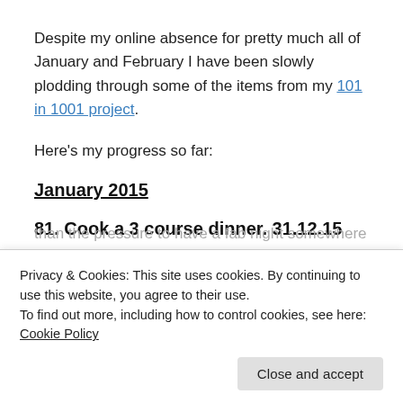Despite my online absence for pretty much all of January and February I have been slowly plodding through some of the items from my 101 in 1001 project.
Here's my progress so far:
January 2015
81. Cook a 3 course dinner. 31.12.15
Privacy & Cookies: This site uses cookies. By continuing to use this website, you agree to their use.
To find out more, including how to control cookies, see here: Cookie Policy
than the pressure to have a fab night somewhere